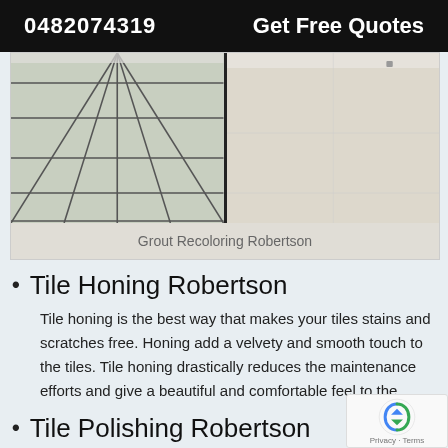0482074319   Get Free Quotes
[Figure (photo): Before and after comparison of tiled floor: left side shows tiles with visible grout lines, right side shows recolored smooth appearance]
Grout Recoloring Robertson
Tile Honing Robertson
Tile honing is the best way that makes your tiles stains and scratches free. Honing add a velvety and smooth touch to the tiles. Tile honing drastically reduces the maintenance efforts and give a beautiful and comfortable feel to the
Tile Polishing Robertson